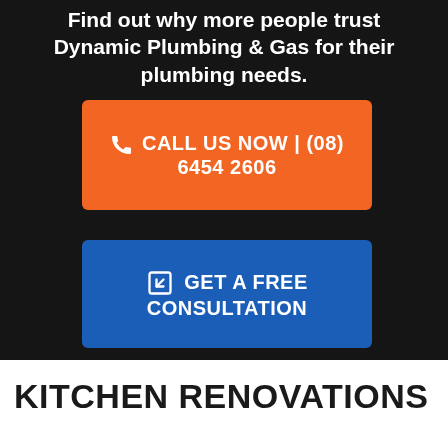Find out why more people trust Dynamic Plumbing & Gas for their plumbing needs.
CALL US NOW | (08) 6454 2606
GET A FREE CONSULTATION
KITCHEN RENOVATIONS